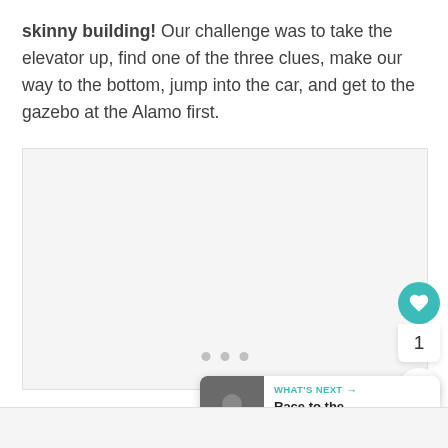skinny building! Our challenge was to take the elevator up, find one of the three clues, make our way to the bottom, jump into the car, and get to the gazebo at the Alamo first.
[Figure (photo): Embedded image placeholder with three pagination dots at the bottom, light grey background. A heart/like button (teal), count of 1, and share button are overlaid on the right side.]
WHAT'S NEXT → Race to the Alamo, Day...